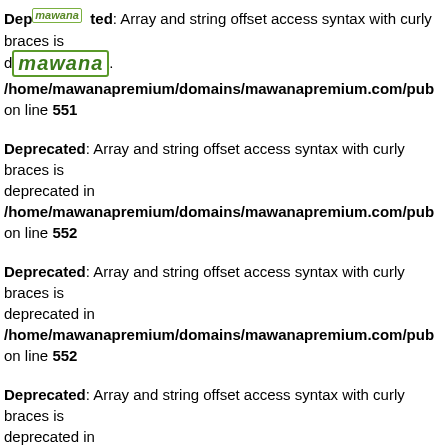Deprecated: Array and string offset access syntax with curly braces is deprecated in /home/mawanapremium/domains/mawanapremium.com/pub on line 551
Deprecated: Array and string offset access syntax with curly braces is deprecated in /home/mawanapremium/domains/mawanapremium.com/pub on line 552
Deprecated: Array and string offset access syntax with curly braces is deprecated in /home/mawanapremium/domains/mawanapremium.com/pub on line 552
Deprecated: Array and string offset access syntax with curly braces is deprecated in /home/mawanapremium/domains/mawanapremium.com/pub on line 553
Deprecated: Array and string offset access syntax with curly braces is